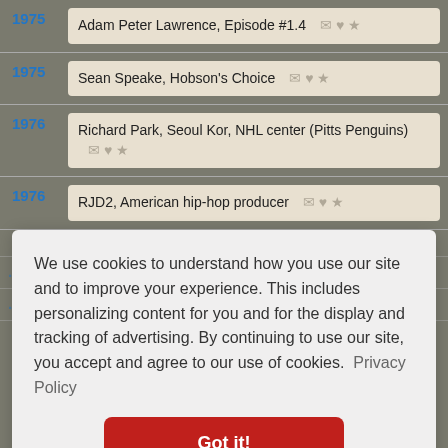1975  Adam Peter Lawrence, Episode #1.4
1975  Sean Speake, Hobson's Choice
1976  Richard Park, Seoul Kor, NHL center (Pitts Penguins)
1976  RJD2, American hip-hop producer
We use cookies to understand how you use our site and to improve your experience. This includes personalizing content for you and for the display and tracking of advertising. By continuing to use our site, you accept and agree to our use of cookies.  Privacy Policy
Got it!